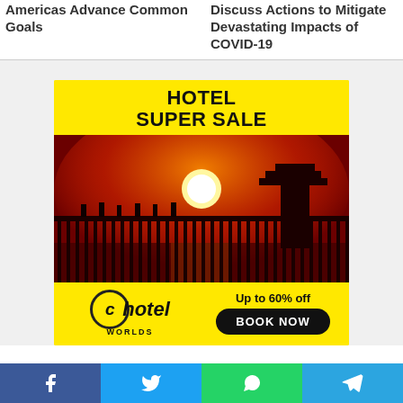Americas Advance Common Goals
Discuss Actions to Mitigate Devastating Impacts of COVID-19
[Figure (infographic): Hotel Worlds advertisement banner with yellow background, 'HOTEL SUPER SALE' headline, sunset photo of wooden bridge with pagoda silhouette, Hotel Worlds logo, 'Up to 60% off' text, and 'BOOK NOW' button.]
[Figure (infographic): Social media share bar with Facebook, Twitter, WhatsApp, and Telegram icons.]